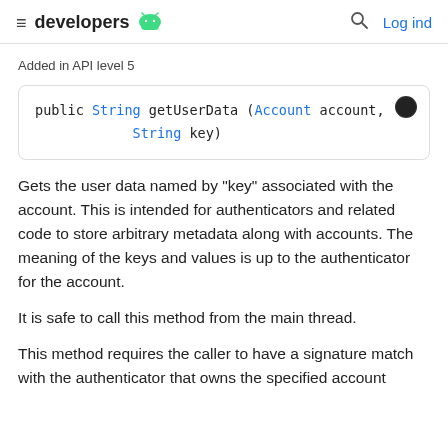developers  Log ind
Added in API level 5
Gets the user data named by "key" associated with the account. This is intended for authenticators and related code to store arbitrary metadata along with accounts. The meaning of the keys and values is up to the authenticator for the account.
It is safe to call this method from the main thread.
This method requires the caller to have a signature match with the authenticator that owns the specified account